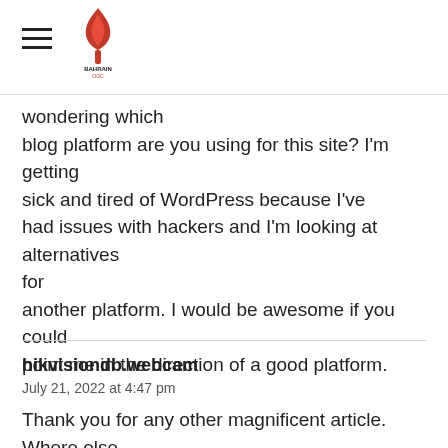Bahrain OGC logo with hamburger menu
wondering which blog platform are you using for this site? I'm getting sick and tired of WordPress because I've had issues with hackers and I'm looking at alternatives for another platform. I would be awesome if you could point me in the direction of a good platform.
hikvisiondb.webcam
July 21, 2022 at 4:47 pm
Thank you for any other magnificent article. Where else may anyone get that kind of info in such an ideal approach of writing?